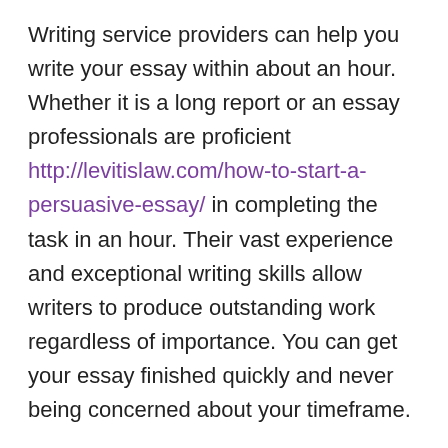Writing service providers can help you write your essay within about an hour. Whether it is a long report or an essay professionals are proficient http://levitislaw.com/how-to-start-a-persuasive-essay/ in completing the task in an hour. Their vast experience and exceptional writing skills allow writers to produce outstanding work regardless of importance. You can get your essay finished quickly and never being concerned about your timeframe.
To ensure that your paper has been written by an experienced professional, look into the credentials of the author. Writing services should be creative as well as highly skilled. A trusted support staff must be available for assistance throughout the whole process. It is essential to have accessibility to the customer